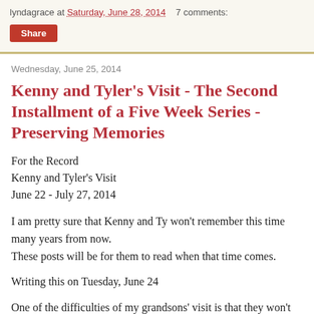lyndagrace at Saturday, June 28, 2014    7 comments:
Share
Wednesday, June 25, 2014
Kenny and Tyler's Visit - The Second Installment of a Five Week Series - Preserving Memories
For the Record
Kenny and Tyler's Visit
June 22 - July 27, 2014
I am pretty sure that Kenny and Ty won't remember this time many years from now.
These posts will be for them to read when that time comes.
Writing this on Tuesday, June 24
One of the difficulties of my grandsons' visit is that they won't get